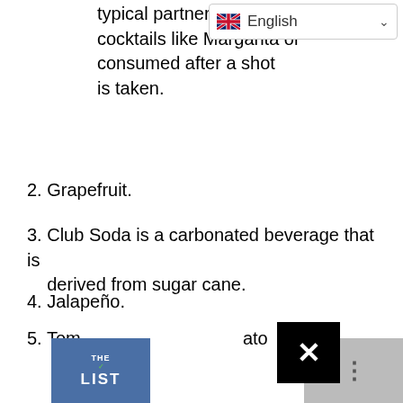typical partner for tequila cocktails like Margarita or consumed after a shot is taken.
2. Grapefruit.
3. Club Soda is a carbonated beverage that is derived from sugar cane.
4. Jalapeño.
5. Tomato juice
6. Plan
7. Aloe
8. Coc
9. Coc
10. Bon
[Figure (screenshot): Language selector dropdown showing English with UK flag]
[Figure (other): The List logo thumbnail at bottom left]
[Figure (other): Gray thumbnail at bottom right with three dots]